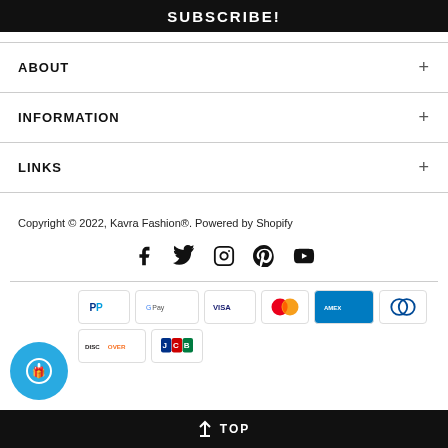SUBSCRIBE!
ABOUT
INFORMATION
LINKS
Copyright © 2022, Kavra Fashion®. Powered by Shopify
[Figure (infographic): Social media icons: Facebook, Twitter, Instagram, Pinterest, YouTube]
[Figure (infographic): Payment method badges: PayPal, Google Pay, Visa, Mastercard, Amex, Diners Club, Discover, JCB]
↑ TOP